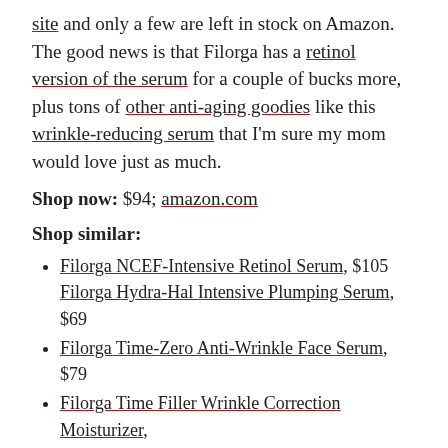site and only a few are left in stock on Amazon. The good news is that Filorga has a retinol version of the serum for a couple of bucks more, plus tons of other anti-aging goodies like this wrinkle-reducing serum that I'm sure my mom would love just as much.
Shop now: $94; amazon.com
Shop similar:
Filorga NCEF-Intensive Retinol Serum, $105
Filorga Hydra-Hal Intensive Plumping Serum, $69
Filorga Time-Zero Anti-Wrinkle Face Serum, $79
Filorga Time Filler Wrinkle Correction Moisturizer, $92